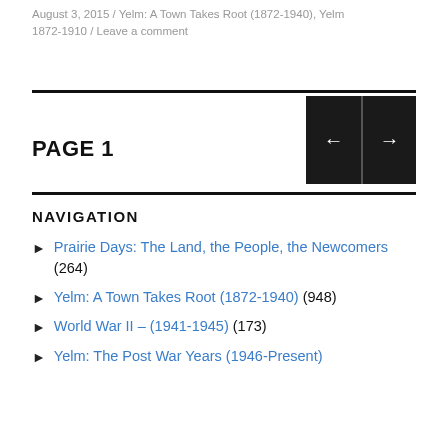August 3, 2015 / Yelm: A Town Takes Root (1872-1940), Yelm 1872-1910 / Leave a comment
PAGE 1
NAVIGATION
Prairie Days: The Land, the People, the Newcomers (264)
Yelm: A Town Takes Root (1872-1940) (948)
World War II – (1941-1945) (173)
Yelm: The Post War Years (1946-Present)